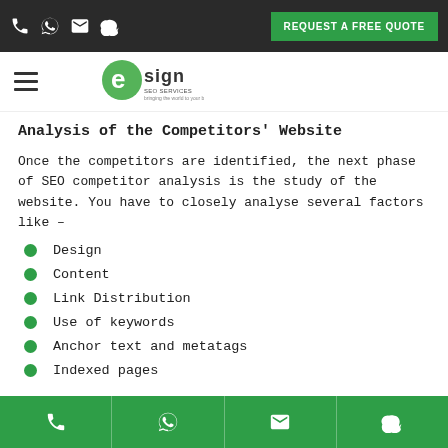REQUEST A FREE QUOTE
[Figure (logo): eSign SEO Services logo with green circular e and sign text]
Analysis of the Competitors' Website
Once the competitors are identified, the next phase of SEO competitor analysis is the study of the website. You have to closely analyse several factors like –
Design
Content
Link Distribution
Use of keywords
Anchor text and metatags
Indexed pages
Phone | WhatsApp | Email | Skype